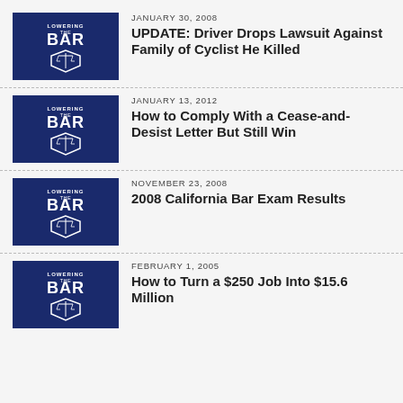[Figure (logo): Lowering the Bar logo — dark blue shield with scales of justice and text 'LOWERING THE BAR']
JANUARY 30, 2008
UPDATE: Driver Drops Lawsuit Against Family of Cyclist He Killed
[Figure (logo): Lowering the Bar logo — dark blue shield with scales of justice and text 'LOWERING THE BAR']
JANUARY 13, 2012
How to Comply With a Cease-and-Desist Letter But Still Win
[Figure (logo): Lowering the Bar logo — dark blue shield with scales of justice and text 'LOWERING THE BAR']
NOVEMBER 23, 2008
2008 California Bar Exam Results
[Figure (logo): Lowering the Bar logo — dark blue shield with scales of justice and text 'LOWERING THE BAR']
FEBRUARY 1, 2005
How to Turn a $250 Job Into $15.6 Million